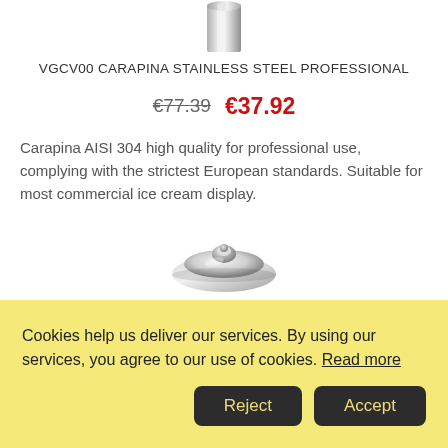[Figure (photo): Stainless steel carapina (ice cream scoop/cylinder) shown from above, partial view at top of page]
VGCV00 CARAPINA STAINLESS STEEL PROFESSIONAL
€77.39  €37.92
Carapina AISI 304 high quality for professional use, complying with the strictest European standards. Suitable for most commercial ice cream display.
[Figure (photo): Stainless steel ice cream dish lid, round with a central knob, viewed from a slight angle]
VGCV01 200 MM DIAMETER ICE-CREAM DISH LID
Cookies help us deliver our services. By using our services, you agree to our use of cookies. Read more